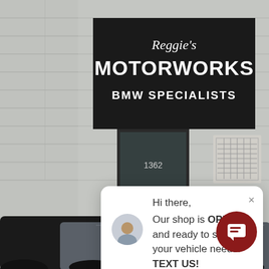[Figure (photo): Exterior photo of Reggie's Motorworks BMW Specialists shop at address 1362. A black sign with white text reads 'Reggie's Motorworks' and 'BMW SPECIALISTS'. A door with a logo sticker and a BMW car in the foreground are visible.]
Hi there, Our shop is OPEN and ready to service your vehicle needs. TEXT US!